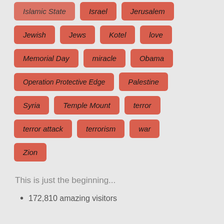[Figure (infographic): Tag cloud with red pill-shaped buttons containing terms: Islamic State, Israel, Jerusalem, Jewish, Jews, Kotel, love, Memorial Day, miracle, Obama, Operation Protective Edge, Palestine, Syria, Temple Mount, terror, terror attack, terrorism, war, Zion]
This is just the beginning...
172,810 amazing visitors